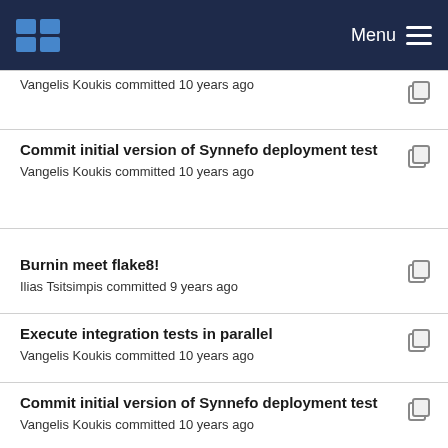Menu
Commit initial version of Synnefo deployment test
Vangelis Koukis committed 10 years ago
Burnin meet flake8!
Ilias Tsitsimpis committed 9 years ago
Execute integration tests in parallel
Vangelis Koukis committed 10 years ago
Commit initial version of Synnefo deployment test
Vangelis Koukis committed 10 years ago
Personality enforcement check now works
John Giannelos committed 10 years ago
Fixed insist on actions / fixed testing conditions
John Giannelos committed 10 years ago
burnin.py is now PEP8 compliant
John Giannelos committed 10 years ago